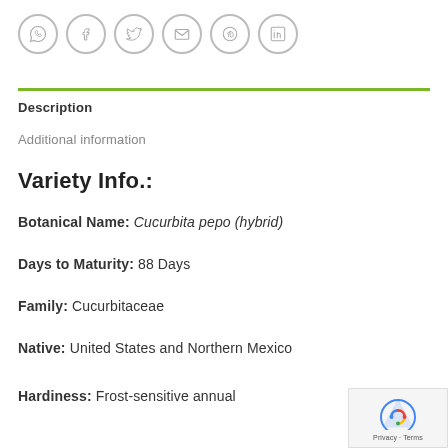[Figure (other): Social share icons row: WhatsApp, Facebook, Twitter, Email, Pinterest, LinkedIn — all circular outlined gray icons]
Description
Additional information
Variety Info.:
Botanical Name: Cucurbita pepo (hybrid)
Days to Maturity: 88 Days
Family: Cucurbitaceae
Native: United States and Northern Mexico
Hardiness: Frost-sensitive annual